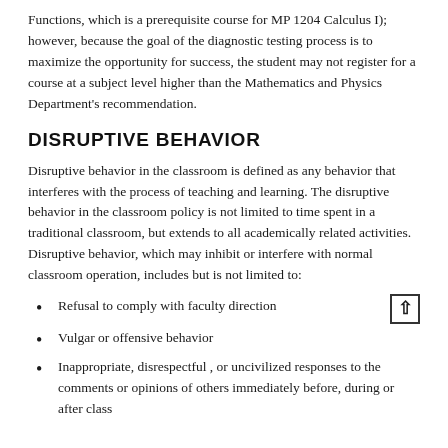Functions, which is a prerequisite course for MP 1204 Calculus I); however, because the goal of the diagnostic testing process is to maximize the opportunity for success, the student may not register for a course at a subject level higher than the Mathematics and Physics Department's recommendation.
DISRUPTIVE BEHAVIOR
Disruptive behavior in the classroom is defined as any behavior that interferes with the process of teaching and learning. The disruptive behavior in the classroom policy is not limited to time spent in a traditional classroom, but extends to all academically related activities. Disruptive behavior, which may inhibit or interfere with normal classroom operation, includes but is not limited to:
Refusal to comply with faculty direction
Vulgar or offensive behavior
Inappropriate, disrespectful , or uncivilized responses to the comments or opinions of others immediately before, during or after class